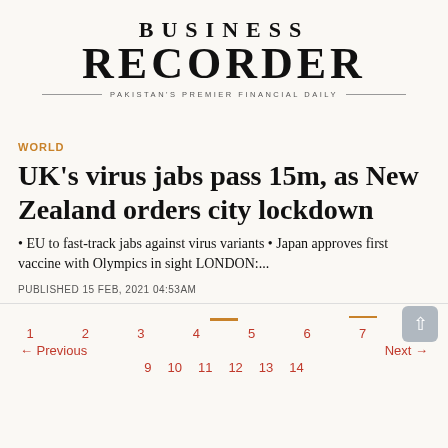BUSINESS RECORDER — PAKISTAN'S PREMIER FINANCIAL DAILY
WORLD
UK's virus jabs pass 15m, as New Zealand orders city lockdown
• EU to fast-track jabs against virus variants • Japan approves first vaccine with Olympics in sight LONDON:...
PUBLISHED 15 FEB, 2021 04:53AM
Previous 1 2 3 4 5 6 7 8 Next 9 10 11 12 13 14